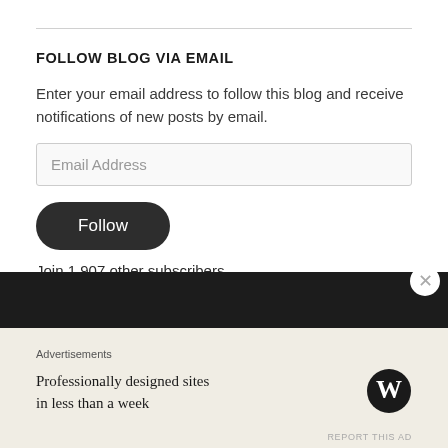FOLLOW BLOG VIA EMAIL
Enter your email address to follow this blog and receive notifications of new posts by email.
Email Address
Follow
Join 1,907 other subscribers
Advertisements
Professionally designed sites in less than a week